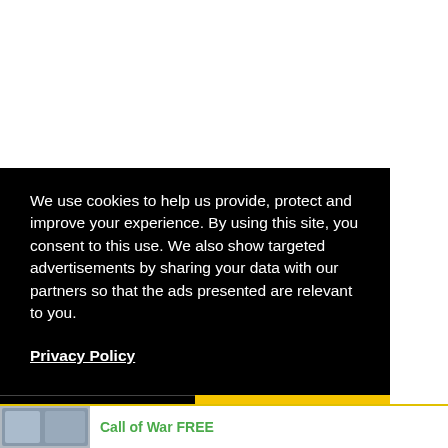We use cookies to help us provide, protect and improve your experience. By using this site, you consent to this use. We also show targeted advertisements by sharing your data with our partners so that the ads presented are relevant to you.
Privacy Policy
Decline
Allow cookies
Call of War FREE